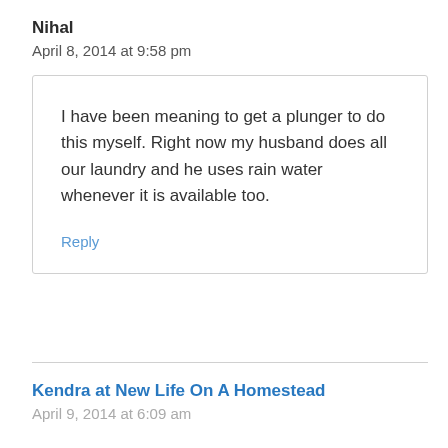Nihal
April 8, 2014 at 9:58 pm
I have been meaning to get a plunger to do this myself. Right now my husband does all our laundry and he uses rain water whenever it is available too.
Reply
Kendra at New Life On A Homestead
April 9, 2014 at 6:09 am